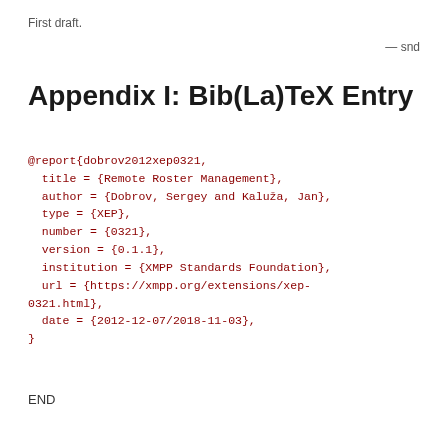First draft.
— snd
Appendix I: Bib(La)TeX Entry
@report{dobrov2012xep0321,
  title = {Remote Roster Management},
  author = {Dobrov, Sergey and Kaluža, Jan},
  type = {XEP},
  number = {0321},
  version = {0.1.1},
  institution = {XMPP Standards Foundation},
  url = {https://xmpp.org/extensions/xep-0321.html},
  date = {2012-12-07/2018-11-03},
}
END